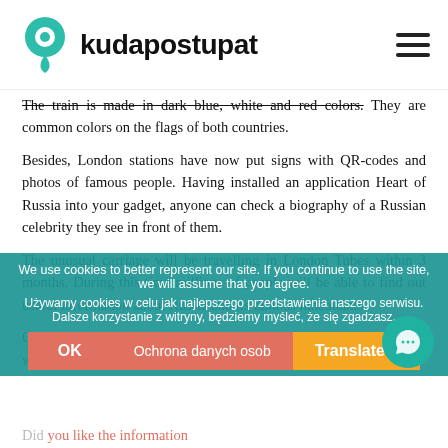kudapostupat
The train is made in dark blue, white and red colors. They are common colors on the flags of both countries.
Besides, London stations have now put signs with QR-codes and photos of famous people. Having installed an application Heart of Russia into your gadget, anyone can check a biography of a Russian celebrity they see in front of them.
The unusual carriage will be travelling in London Tubes within 3 months. During this time millions of people will be able to find out useful information about Russia and its famous inhabitants.
Great Britain is planning to launch the similar train in Russia, which will introduce science and education of the United Kingdom to its inhabitants.
We use cookies to better represent our site. If you continue to use the site, we will assume that you agree.
Używamy cookies w celu jak najlepszego przedstawienia naszego serwisu. Dalsze korzystanie z witryny, będziemy myśleć, że się zgadzasz.
Did you like the information?